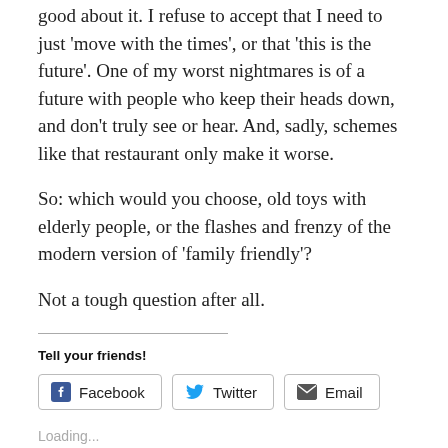good about it.  I refuse to accept that I need to just 'move with the times', or that 'this is the future'.  One of my worst nightmares is of a future with people who keep their heads down, and don't truly see or hear.  And, sadly, schemes like that restaurant only make it worse.
So: which would you choose, old toys with elderly people, or the flashes and frenzy of the modern version of 'family friendly'?
Not a tough question after all.
Tell your friends!
[Figure (other): Social sharing buttons for Facebook, Twitter, and Email]
Loading...